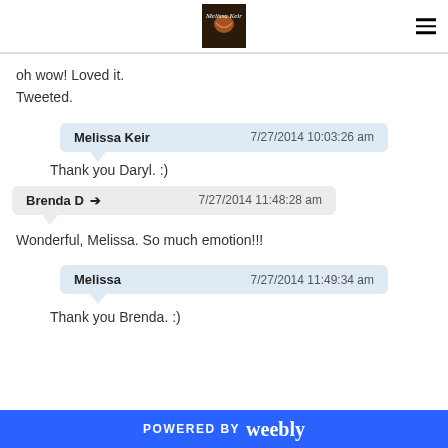Melissa Keir blog header with logo and navigation
oh wow! Loved it.
Tweeted.
Melissa Keir  7/27/2014 10:03:26 am
Thank you Daryl. :)
Brenda D →  7/27/2014 11:48:28 am
Wonderful, Melissa. So much emotion!!!
Melissa  7/27/2014 11:49:34 am
Thank you Brenda. :)
POWERED BY weebly